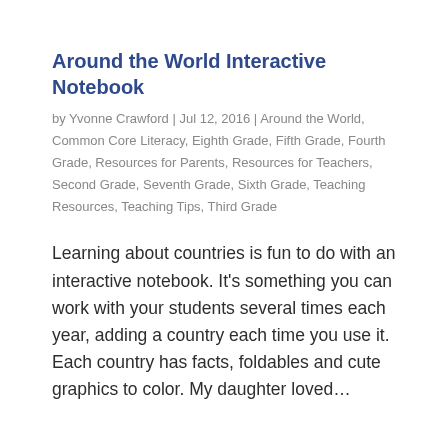Around the World Interactive Notebook
by Yvonne Crawford | Jul 12, 2016 | Around the World, Common Core Literacy, Eighth Grade, Fifth Grade, Fourth Grade, Resources for Parents, Resources for Teachers, Second Grade, Seventh Grade, Sixth Grade, Teaching Resources, Teaching Tips, Third Grade
Learning about countries is fun to do with an interactive notebook. It’s something you can work with your students several times each year, adding a country each time you use it. Each country has facts, foldables and cute graphics to color. My daughter loved…